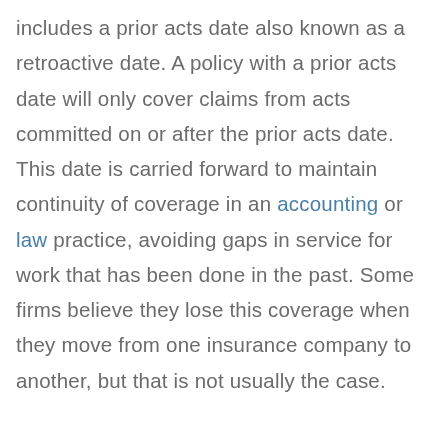includes a prior acts date also known as a retroactive date. A policy with a prior acts date will only cover claims from acts committed on or after the prior acts date. This date is carried forward to maintain continuity of coverage in an accounting or law practice, avoiding gaps in service for work that has been done in the past. Some firms believe they lose this coverage when they move from one insurance company to another, but that is not usually the case.